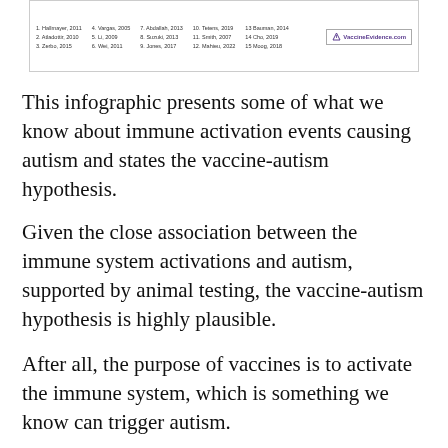[Figure (infographic): Infographic excerpt showing a legend with numbered references (1. Hallmayer, 2011; 2. Atladottir, 2010; 3. Zerbo, 2015; 4. Vargas, 2005; 5. Li, 2009; 6. Wei, 2011; 7. Abdallah, 2013; 8. Suzuki, 2013; 9. Jones, 2017; 10. Tetens, 2019; 11. Smith, 2007; 12. Mahieu, 2022; 13 Bauman, 2014; 14 Cho, 2019; 15 Moog, 2018) and VaccineEvidence.com logo.]
This infographic presents some of what we know about immune activation events causing autism and states the vaccine-autism hypothesis.
Given the close association between the immune system activations and autism, supported by animal testing, the vaccine-autism hypothesis is highly plausible.
After all, the purpose of vaccines is to activate the immune system, which is something we know can trigger autism.